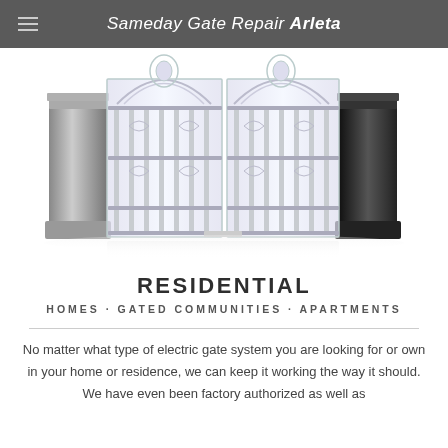Sameday Gate Repair Arleta
[Figure (illustration): Ornate double iron gate with decorative scrollwork and two stone/dark pillar columns on either side, rendered in silver/white tones against a white background with subtle reflection below]
RESIDENTIAL
HOMES · GATED COMMUNITIES · APARTMENTS
No matter what type of electric gate system you are looking for or own in your home or residence, we can keep it working the way it should. We have even been factory authorized as well as